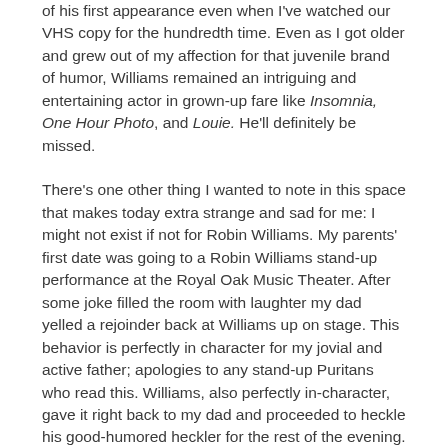of his first appearance even when I've watched our VHS copy for the hundredth time. Even as I got older and grew out of my affection for that juvenile brand of humor, Williams remained an intriguing and entertaining actor in grown-up fare like Insomnia, One Hour Photo, and Louie. He'll definitely be missed.
There's one other thing I wanted to note in this space that makes today extra strange and sad for me: I might not exist if not for Robin Williams. My parents' first date was going to a Robin Williams stand-up performance at the Royal Oak Music Theater. After some joke filled the room with laughter my dad yelled a rejoinder back at Williams up on stage. This behavior is perfectly in character for my jovial and active father; apologies to any stand-up Puritans who read this. Williams, also perfectly in-character, gave it right back to my dad and proceeded to heckle his good-humored heckler for the rest of the evening. I